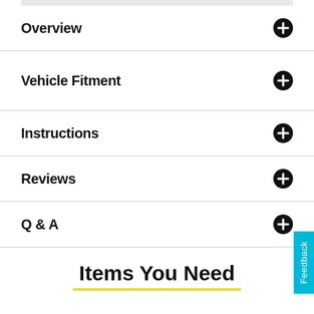Overview
Vehicle Fitment
Instructions
Reviews
Q & A
Items You Need
[Figure (illustration): Partial view of a tire at the bottom of the page]